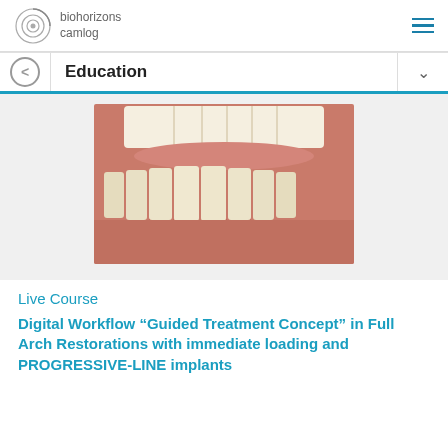biohorizons camlog
Education
[Figure (photo): Close-up intraoral photograph showing upper and lower teeth with gum tissue visible, dental implant restorations visible on lower arch]
Live Course
Digital Workflow “Guided Treatment Concept” in Full Arch Restorations with immediate loading and PROGRESSIVE-LINE implants